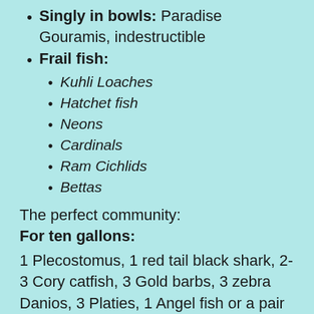Singly in bowls: Paradise Gouramis, indestructible
Frail fish:
Kuhli Loaches
Hatchet fish
Neons
Cardinals
Ram Cichlids
Bettas
The perfect community:
For ten gallons:
1 Plecostomus, 1 red tail black shark, 2-3 Cory catfish, 3 Gold barbs, 3 zebra Danios, 3 Platies, 1 Angel fish or a pair of Kribensis, 3-5 pencil fish. We had one Einstein mention that these fish grow up into larger fish and would